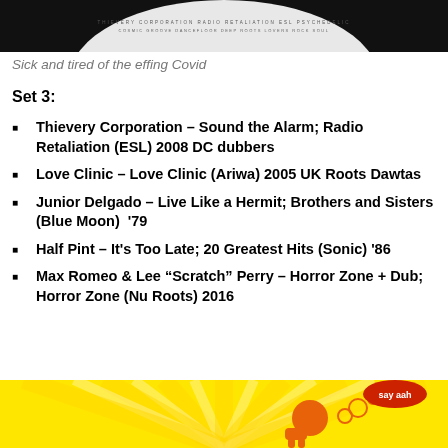[Figure (photo): Top portion of a vinyl record label on black background, partially visible]
Sick and tired of the effing Covid
Set 3:
Thievery Corporation – Sound the Alarm; Radio Retaliation (ESL) 2008 DC dubbers
Love Clinic – Love Clinic (Ariwa) 2005 UK Roots Dawtas
Junior Delgado – Live Like a Hermit; Brothers and Sisters (Blue Moon)  '79
Half Pint – It's Too Late; 20 Greatest Hits (Sonic) '86
Max Romeo & Lee “Scratch” Perry – Horror Zone + Dub; Horror Zone (Nu Roots) 2016
[Figure (illustration): Yellow sunburst background with orange cartoon figure blowing bubbles and a red speech bubble saying 'say aah']